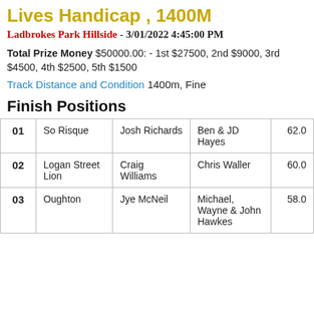Lives Handicap, 1400M
Ladbrokes Park Hillside - 3/01/2022 4:45:00 PM
Total Prize Money $50000.00: - 1st $27500, 2nd $9000, 3rd $4500, 4th $2500, 5th $1500
Track Distance and Condition 1400m, Fine
Finish Positions
|  | Horse | Jockey | Trainer | Weight |
| --- | --- | --- | --- | --- |
| 01 | So Risque | Josh Richards | Ben & JD Hayes | 62.0 |
| 02 | Logan Street Lion | Craig Williams | Chris Waller | 60.0 |
| 03 | Oughton | Jye McNeil | Michael, Wayne & John Hawkes | 58.0 |